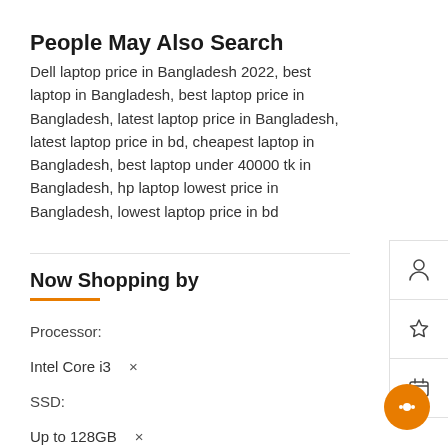People May Also Search
Dell laptop price in Bangladesh 2022, best laptop in Bangladesh, best laptop price in Bangladesh, latest laptop price in Bangladesh, latest laptop price in bd, cheapest laptop in Bangladesh, best laptop under 40000 tk in Bangladesh, hp laptop lowest price in Bangladesh, lowest laptop price in bd
Now Shopping by
Processor:
Intel Core i3  ×
SSD:
Up to 128GB  ×